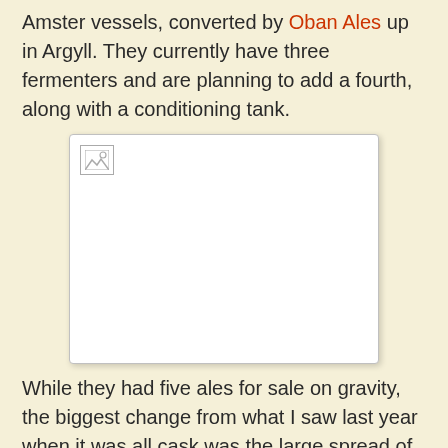Amster vessels, converted by Oban Ales up in Argyll. They currently have three fermenters and are planning to add a fourth, along with a conditioning tank.
[Figure (photo): A broken/missing image placeholder (white box with border and broken image icon in upper left corner)]
While they had five ales for sale on gravity, the biggest change from what I saw last year when it was all cask was the large spread of bottles on the table. Having started bottling last month, Chris and Alex now bottle all their ales themselves as well as selling them in cask. As well as some local distribution - although of course they are on the look-out for more - Chris says they have beer going up to Manchester.